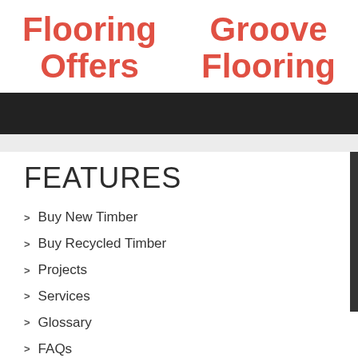Flooring Offers
Groove Flooring
FEATURES
Buy New Timber
Buy Recycled Timber
Projects
Services
Glossary
FAQs
About us